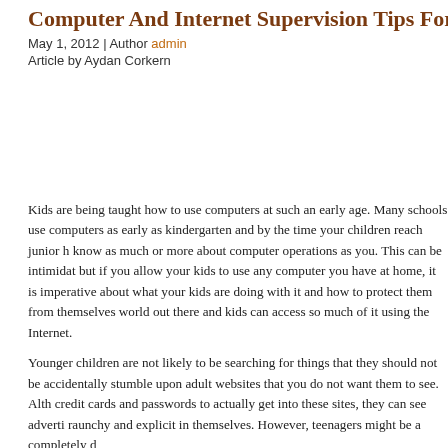Computer And Internet Supervision Tips For Pa...
May 1, 2012 | Author admin
Article by Aydan Corkern
Kids are being taught how to use computers at such an early age. Many schools use computers as early as kindergarten and by the time your children reach junior high know as much or more about computer operations as you. This can be intimidat but if you allow your kids to use any computer you have at home, it is imperativ about what your kids are doing with it and how to protect them from themselves world out there and kids can access so much of it using the Internet.
Younger children are not likely to be searching for things that they should not be accidentally stumble upon adult websites that you do not want them to see. Alth credit cards and passwords to actually get into these sites, they can see adverti raunchy and explicit in themselves. However, teenagers might be a completely d
Teenagers will often seek out websites that they know you would not want them where a parent must really be cautious. The possibility for them to actually get i chat room is a lot more common. The social websites are very popular with tee younger ones these days. You might think these sites are harmless because the their own age, but that may not be the case. Teens are often posting pictures a nudity and your teen could be one of them and you might not even know it. Thi predators. If you have been paying any attention at all, you should know by now frequented by sexual predators of all kinds trying to entice unsuspecting kids i